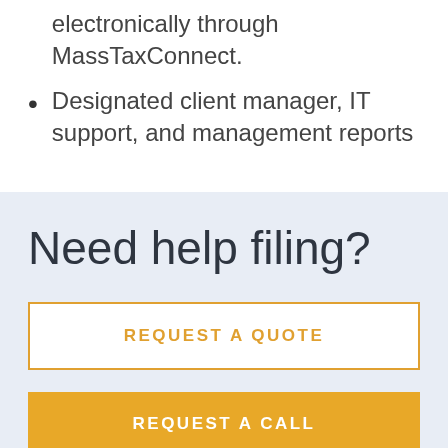electronically through MassTaxConnect.
Designated client manager, IT support, and management reports
Need help filing?
REQUEST A QUOTE
REQUEST A CALL